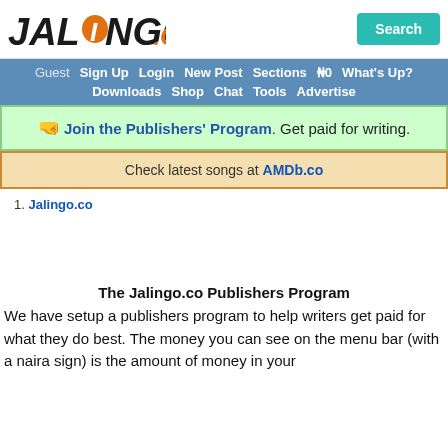JALINGO.CO | Search
Guest Sign Up Login New Post Sections ₦0 What's Up? Downloads Shop Chat Tools Advertise
Join the Publishers' Program. Get paid for writing.
Check latest songs at AMDb.co
1. Jalingo.co
The Jalingo.co Publishers Program
We have setup a publishers program to help writers get paid for what they do best. The money you can see on the menu bar (with a naira sign) is the amount of money in your